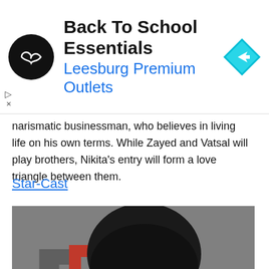[Figure (other): Advertisement banner: Back To School Essentials - Leesburg Premium Outlets, with circular black logo showing infinity-like symbol and blue diamond navigation icon]
narismatic businessman, who believes in living life on his own terms. While Zayed and Vatsal will play brothers, Nikita's entry will form a love triangle between them.
Star-Cast
[Figure (photo): Photo of a man with dark hair against a grey background with a large 'R' logo watermark in grey and red]